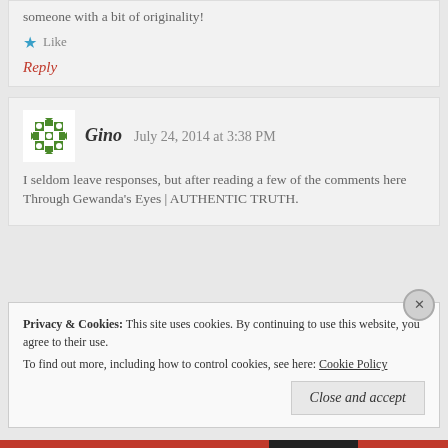someone with a bit of originality!
Like
Reply
Gino  July 24, 2014 at 3:38 PM
I seldom leave responses, but after reading a few of the comments here Through Gewanda's Eyes | AUTHENTIC TRUTH.
Privacy & Cookies: This site uses cookies. By continuing to use this website, you agree to their use. To find out more, including how to control cookies, see here: Cookie Policy
Close and accept